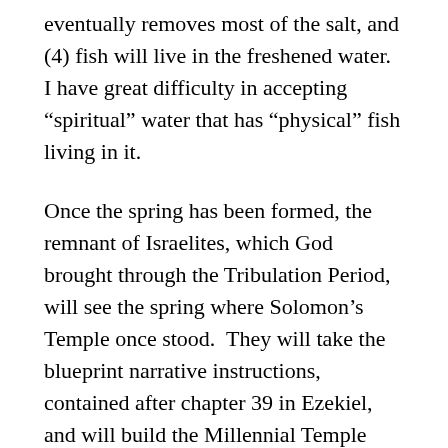eventually removes most of the salt, and (4) fish will live in the freshened water.  I have great difficulty in accepting “spiritual” water that has “physical” fish living in it.
Once the spring has been formed, the remnant of Israelites, which God brought through the Tribulation Period, will see the spring where Solomon’s Temple once stood.  They will take the blueprint narrative instructions, contained after chapter 39 in Ezekiel, and will build the Millennial Temple such that the waters will issue out “from under the threshold of the house eastward,” and such that they come “down from under from the right side of the house, at the south side of the altar.”